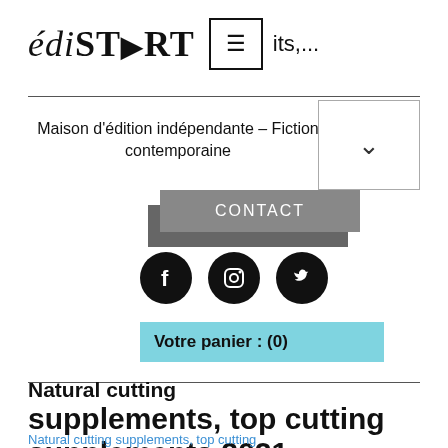édiSTART ≡ its,...
Maison d'édition indépendante – Fiction contemporaine
CONTACT
[Figure (illustration): Three social media icons: Facebook, Instagram, Twitter — black circles with white logos]
Votre panier : (0)
Natural cutting supplements, top cutting supplements 2021
Natural cutting supplements, top cutting